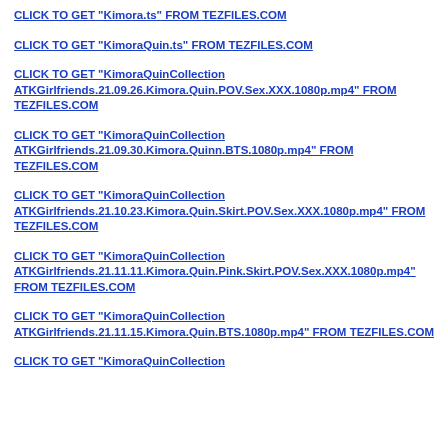CLICK TO GET "Kimora.ts" FROM TEZFILES.COM
CLICK TO GET "KimoraQuin.ts" FROM TEZFILES.COM
CLICK TO GET "KimoraQuinCollection ATKGirlfriends.21.09.26.Kimora.Quin.POV.Sex.XXX.1080p.mp4" FROM TEZFILES.COM
CLICK TO GET "KimoraQuinCollection ATKGirlfriends.21.09.30.Kimora.Quinn.BTS.1080p.mp4" FROM TEZFILES.COM
CLICK TO GET "KimoraQuinCollection ATKGirlfriends.21.10.23.Kimora.Quin.Skirt.POV.Sex.XXX.1080p.mp4" FROM TEZFILES.COM
CLICK TO GET "KimoraQuinCollection ATKGirlfriends.21.11.11.Kimora.Quin.Pink.Skirt.POV.Sex.XXX.1080p.mp4" FROM TEZFILES.COM
CLICK TO GET "KimoraQuinCollection ATKGirlfriends.21.11.15.Kimora.Quin.BTS.1080p.mp4" FROM TEZFILES.COM
CLICK TO GET "KimoraQuinCollection